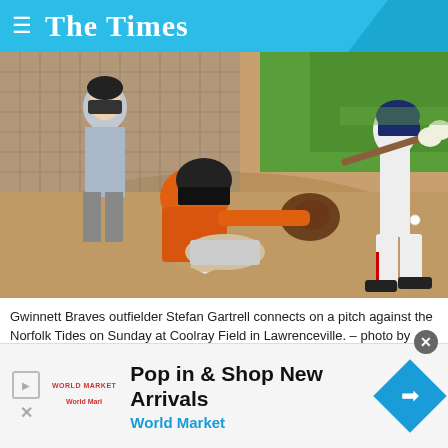The Times
[Figure (photo): Baseball game scene: umpire crouching behind a catcher in orange uniform diving to catch a pitch; a batter in white uniform swings at home plate with green outfield grass in background at Coolray Field, Lawrenceville]
Gwinnett Braves outfielder Stefan Gartrell connects on a pitch against the Norfolk Tides on Sunday at Coolray Field in Lawrenceville. – photo by SARA GUEVARA
[Figure (other): Advertisement: Pop in & Shop New Arrivals – World Market, with World Market diamond logo]